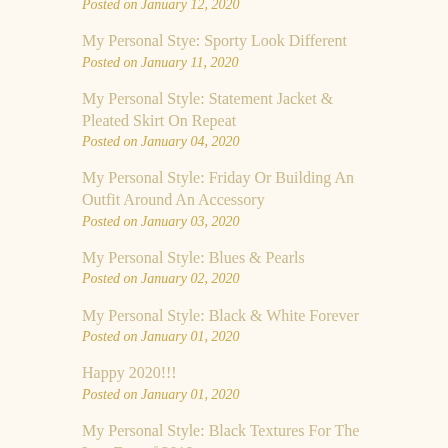Posted on January 12, 2020
My Personal Stye: Sporty Look Different
Posted on January 11, 2020
My Personal Style: Statement Jacket & Pleated Skirt On Repeat
Posted on January 04, 2020
My Personal Style: Friday Or Building An Outfit Around An Accessory
Posted on January 03, 2020
My Personal Style: Blues & Pearls
Posted on January 02, 2020
My Personal Style: Black & White Forever
Posted on January 01, 2020
Happy 2020!!!
Posted on January 01, 2020
My Personal Style: Black Textures For The Last Day of 2019
Posted on December 31, 2019